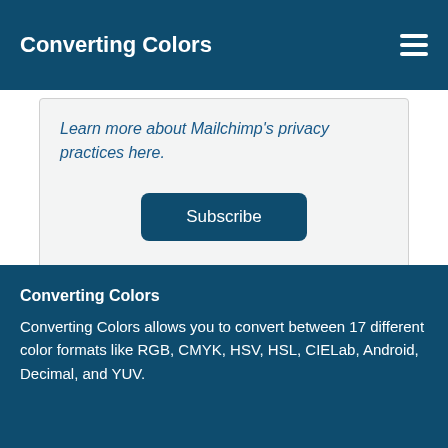Converting Colors
Learn more about Mailchimp's privacy practices here.
Subscribe
Converting Colors
Converting Colors allows you to convert between 17 different color formats like RGB, CMYK, HSV, HSL, CIELab, Android, Decimal, and YUV.